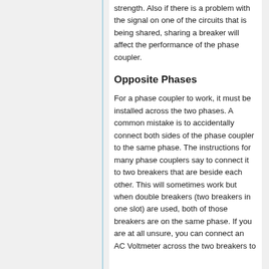strength. Also if there is a problem with the signal on one of the circuits that is being shared, sharing a breaker will affect the performance of the phase coupler.
Opposite Phases
For a phase coupler to work, it must be installed across the two phases. A common mistake is to accidentally connect both sides of the phase coupler to the same phase. The instructions for many phase couplers say to connect it to two breakers that are beside each other. This will sometimes work but when double breakers (two breakers in one slot) are used, both of those breakers are on the same phase. If you are at all unsure, you can connect an AC Voltmeter across the two breakers to